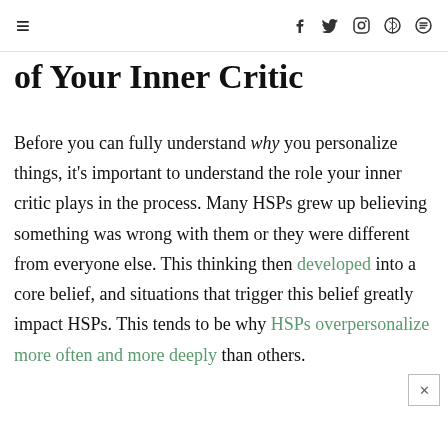≡  f  t  Instagram  Pinterest  Search
of Your Inner Critic
Before you can fully understand why you personalize things, it's important to understand the role your inner critic plays in the process. Many HSPs grew up believing something was wrong with them or they were different from everyone else. This thinking then developed into a core belief, and situations that trigger this belief greatly impact HSPs. This tends to be why HSPs overpersonalize more often and more deeply than others.